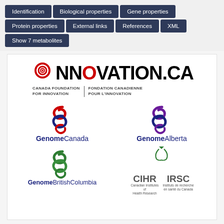[Figure (screenshot): Navigation bar with buttons: Identification, Biological properties, Gene properties, Protein properties, External links, References, XML, Show 7 metabolites]
[Figure (logo): INNOVATION.CA - Canada Foundation for Innovation / Fondation Canadienne pour l'Innovation logo]
[Figure (logo): Genome Canada logo with red and blue DNA helix icon]
[Figure (logo): Genome Alberta logo with purple and blue DNA helix icon]
[Figure (logo): Genome British Columbia logo with green DNA helix icon]
[Figure (logo): CIHR IRSC - Canadian Institutes of Health Research / Instituts de recherche en sante du Canada logo with green maple leaf design]